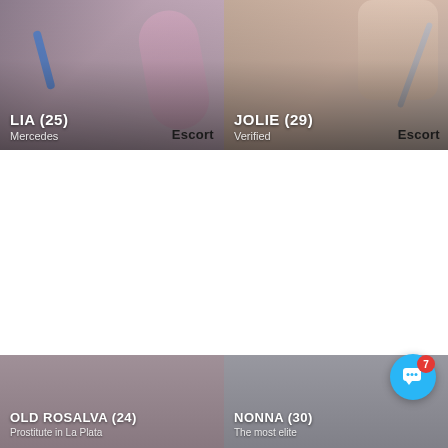[Figure (photo): Top-left card: LIA (25), Mercedes, badge: Escort]
[Figure (photo): Top-right card: JOLIE (29), Verified, badge: Escort]
[Figure (photo): Bottom-left card: OLD ROSALVA (24), Prostitute in La Plata]
[Figure (photo): Bottom-right card: NONNA (30), The most elite]
[Figure (photo): Bottom strip: two photo cards partially visible, dark-haired women]
[Figure (other): Chat button with badge showing 7]